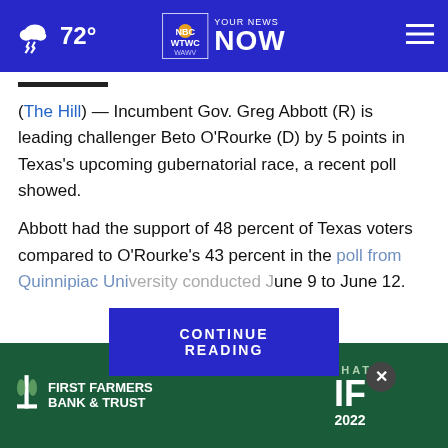72° YOUR NEWS NOW — WTWC WAWV NBC2
(The Hill) — Incumbent Gov. Greg Abbott (R) is leading challenger Beto O'Rourke (D) by 5 points in Texas's upcoming gubernatorial race, a recent poll showed.
Abbott had the support of 48 percent of Texas voters compared to O'Rourke's 43 percent in the poll from Quinnipiac University conducted June 9 to June 12.
[Figure (screenshot): CONTINUE READING button overlay in dark blue]
[Figure (logo): First Farmers Bank & Trust advertisement banner with WHAT IF 2022 branding]